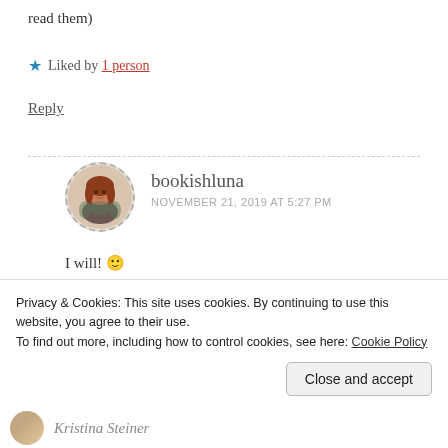read them)
★ Liked by 1 person
Reply
bookishluna
NOVEMBER 21, 2019 AT 5:27 PM
I will! 🙂
★ Like
Privacy & Cookies: This site uses cookies. By continuing to use this website, you agree to their use.
To find out more, including how to control cookies, see here: Cookie Policy
Close and accept
Kristina Steiner